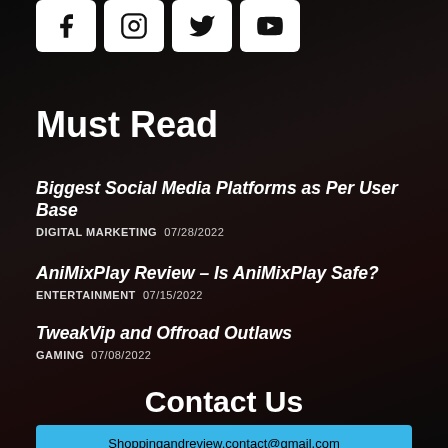[Figure (other): Social media icons row: Facebook, Instagram, Twitter, YouTube — white rounded square buttons on dark background]
Must Read
Biggest Social Media Platforms as Per User Base
DIGITAL MARKETING  07/28/2022
AniMixPlay Review – Is AniMixPlay Safe?
ENTERTAINMENT  07/15/2022
TweakVip and Offroad Outlaws
GAMING  07/08/2022
Contact Us
Shoppingandreview.contact@gmail.com